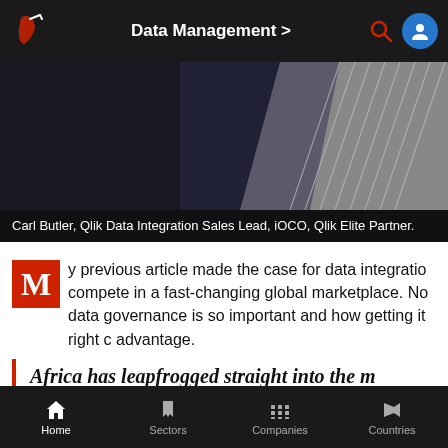Data Management >
[Figure (photo): Hero image of a person in a dark suit, partially visible, with a phone or device showing a striped/lined pattern. Dark background.]
Carl Butler, Qlik Data Integration Sales Lead, iOCO, Qlik Elite Partner.
My previous article made the case for data integration to compete in a fast-changing global marketplace. Now data governance is so important and how getting it right can provide advantage.
Africa has leapfrogged straight into the m underpins business agility, and similarly is posture
In the technology space, Africa's relative underdevelopment and Asia actually seems to have played out to its benefit.
Home  Sectors  Companies  Countries